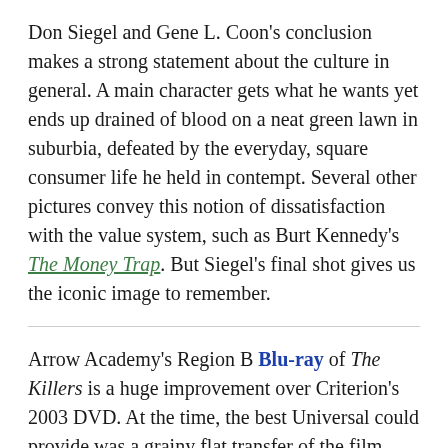Don Siegel and Gene L. Coon's conclusion makes a strong statement about the culture in general. A main character gets what he wants yet ends up drained of blood on a neat green lawn in suburbia, defeated by the everyday, square consumer life he held in contempt. Several other pictures convey this notion of dissatisfaction with the value system, such as Burt Kennedy's The Money Trap. But Siegel's final shot gives us the iconic image to remember.
Arrow Academy's Region B Blu-ray of The Killers is a huge improvement over Criterion's 2003 DVD. At the time, the best Universal could provide was a grainy flat transfer of the film. The Killers always looked like a fairly ratty TV production until now. Arrow's grain-free image is as sharp as a tack and colors are bright and accurate; clearly Universal did a bang-up remastering job. The Blu-ray has both television and cinema aspect ratio versions of the movie, which in this case is a